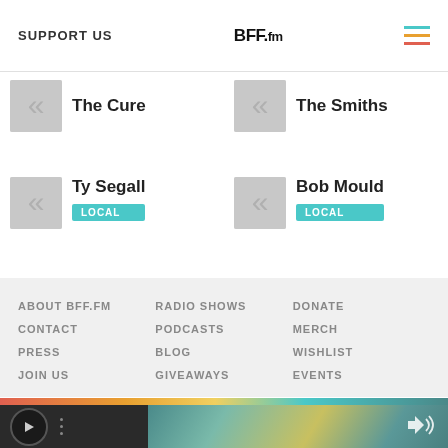SUPPORT US | BFF.fm
The Cure
The Smiths
Ty Segall LOCAL
Bob Mould LOCAL
ABOUT BFF.FM
CONTACT
PRESS
JOIN US
RADIO SHOWS
PODCASTS
BLOG
GIVEAWAYS
DONATE
MERCH
WISHLIST
EVENTS
[Figure (other): Audio player bar with play button, artwork thumbnail, and volume icon]